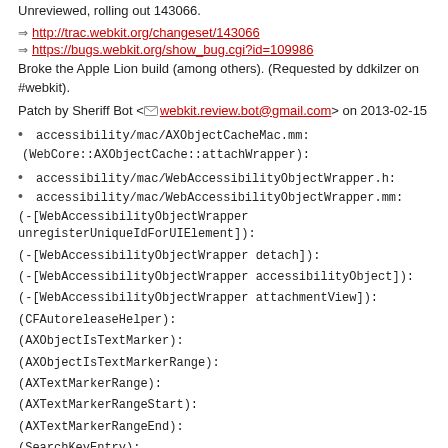Unreviewed, rolling out 143066.
⇒ http://trac.webkit.org/changeset/143066
⇒ https://bugs.webkit.org/show_bug.cgi?id=109986
Broke the Apple Lion build (among others). (Requested by ddkilzer on #webkit).
Patch by Sheriff Bot <webkit.review.bot@gmail.com> on 2013-02-15
accessibility/mac/AXObjectCacheMac.mm:
(WebCore::AXObjectCache::attachWrapper):
accessibility/mac/WebAccessibilityObjectWrapper.h:
accessibility/mac/WebAccessibilityObjectWrapper.mm:
(-[WebAccessibilityObjectWrapper unregisterUniqueIdForUIElement]):
(-[WebAccessibilityObjectWrapper detach]):
(-[WebAccessibilityObjectWrapper accessibilityObject]):
(-[WebAccessibilityObjectWrapper attachmentView]):
(CFAutoreleaseHelper):
(AXObjectIsTextMarker):
(AXObjectIsTextMarkerRange):
(AXTextMarkerRange):
(AXTextMarkerRangeStart):
(AXTextMarkerRangeEnd):
(SearchKeyEntry):
(createAccessibilitySearchKeyMap):
(accessibilitySearchKeyForString):
(textMarkerForVisiblePosition):
(-[WebAccessibilityObjectWrapper textMarkerForVisiblePosition:]):